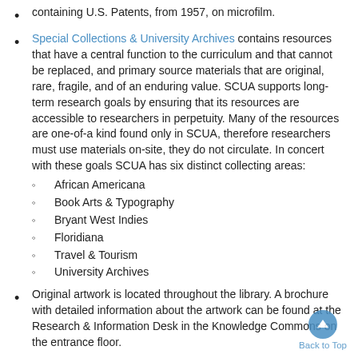containing U.S. Patents, from 1957, on microfilm.
Special Collections & University Archives contains resources that have a central function to the curriculum and that cannot be replaced, and primary source materials that are original, rare, fragile, and of an enduring value. SCUA supports long-term research goals by ensuring that its resources are accessible to researchers in perpetuity. Many of the resources are one-of-a kind found only in SCUA, therefore researchers must use materials on-site, they do not circulate. In concert with these goals SCUA has six distinct collecting areas:
African Americana
Book Arts & Typography
Bryant West Indies
Floridiana
Travel & Tourism
University Archives
Original artwork is located throughout the library. A brochure with detailed information about the artwork can be found at the Research & Information Desk in the Knowledge Commons on the entrance floor.